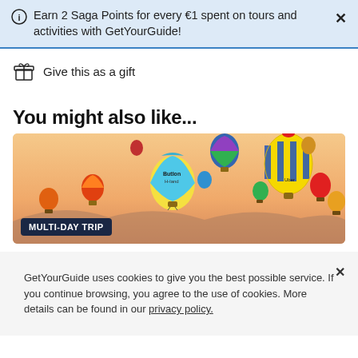Earn 2 Saga Points for every €1 spent on tours and activities with GetYourGuide!
Give this as a gift
You might also like...
[Figure (photo): Hot air balloons of various colors flying against a warm sunset/orange sky landscape. A badge reads MULTI-DAY TRIP.]
GetYourGuide uses cookies to give you the best possible service. If you continue browsing, you agree to the use of cookies. More details can be found in our privacy policy.